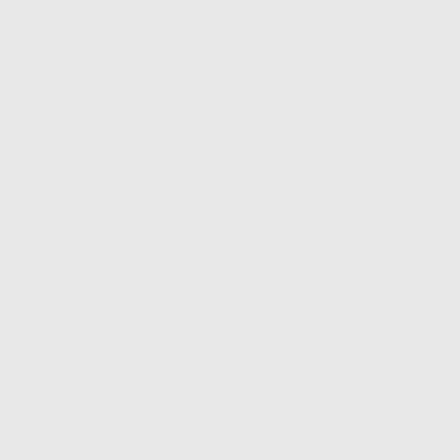But the writers we love, we don't intention is one I have been awar are gay men and write about the heterosexual writers write about t newly, semi-enfranchised minority is a certain self-consciousness th his frustrated, horny male protago on his feelings and experiences a protagonists of a story, I don't wa don't want to shirk or hold back o may be the single most important
RM: Yes, some of your stronge that element of it.
MA: I noticed that with a lot of to create gay characters, but I als often it's simply a character detail frisson to the story. Right now the include a major gay protagonist. recently, there's Adam Haslett. Ar lesbians and bother themselves w that aren't about being gay, per s with the freedom and unself-cons assume we've assimilated to suc particularities my characters expe
Vivian Gornick wrote a brillian and '60s and how they wrote in a American. It's been true for every women, Latinos, Asian Americans my favorites, had to juggle being work.
There's a parallel process. I w